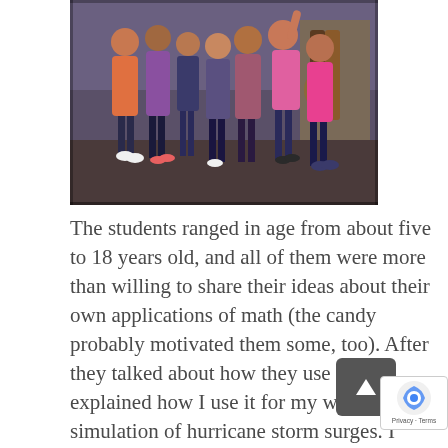[Figure (photo): Group photo of students ranging in age from about five to 18 years old, standing together in what appears to be a community room or church hall with musical instruments (guitars) visible in the background.]
The students ranged in age from about five to 18 years old, and all of them were more than willing to share their ideas about their own applications of math (the candy probably motivated them some, too). After they talked about how they use math, I explained how I use it for my work on the simulation of hurricane storm surges. I followed this with a discussion of my Colorado upbringing and my academic path to my current position as an engineering professor at UCF.